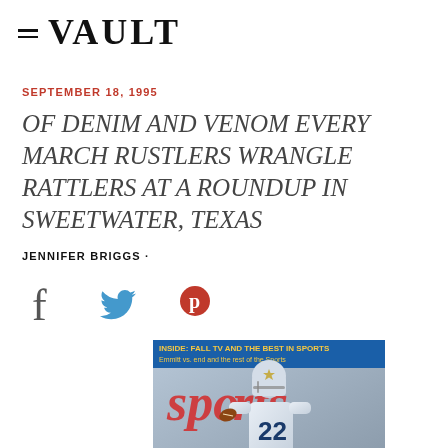≡ VAULT
SEPTEMBER 18, 1995
OF DENIM AND VENOM EVERY MARCH RUSTLERS WRANGLE RATTLERS AT A ROUNDUP IN SWEETWATER, TEXAS
JENNIFER BRIGGS ·
[Figure (photo): Sports Illustrated magazine cover featuring a Dallas Cowboys football player wearing jersey number 22, running with the ball. The cover shows partial text 'Sports Illustrated' visible behind the player.]